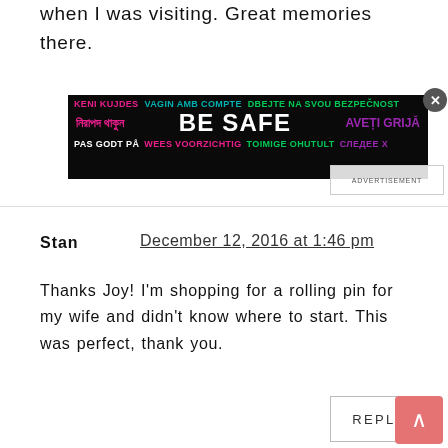when I was visiting. Great memories there.
[Figure (other): Advertisement banner with multilingual 'BE SAFE' text on dark background with close button and advertisement label]
Stan   December 12, 2016 at 1:46 pm
Thanks Joy! I'm shopping for a rolling pin for my wife and didn't know where to start. This was perfect, thank you.